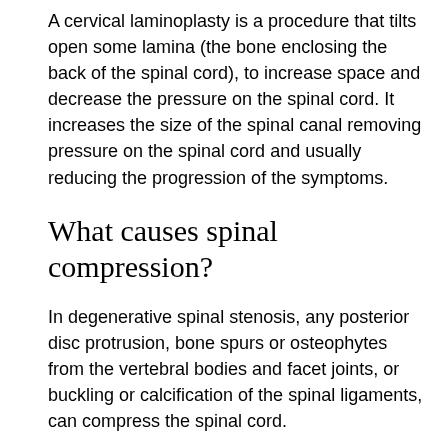A cervical laminoplasty is a procedure that tilts open some lamina (the bone enclosing the back of the spinal cord), to increase space and decrease the pressure on the spinal cord. It increases the size of the spinal canal removing pressure on the spinal cord and usually reducing the progression of the symptoms.
What causes spinal compression?
In degenerative spinal stenosis, any posterior disc protrusion, bone spurs or osteophytes from the vertebral bodies and facet joints, or buckling or calcification of the spinal ligaments, can compress the spinal cord.